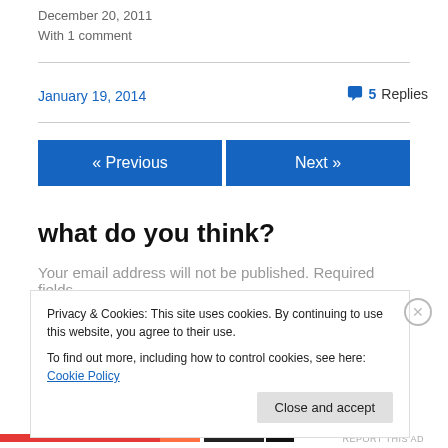December 20, 2011
With 1 comment
January 19, 2014
💬 5 Replies
« Previous
Next »
what do you think?
Your email address will not be published. Required fields
Privacy & Cookies: This site uses cookies. By continuing to use this website, you agree to their use.
To find out more, including how to control cookies, see here: Cookie Policy
Close and accept